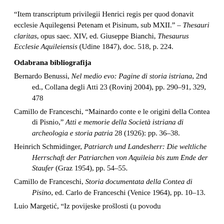“Item transcriptum privilegii Henrici regis per quod donavit ecclesie Aquilegensi Petenam et Pisinum, sub MXII.” – Thesauri claritas, opus saec. XIV, ed. Giuseppe Bianchi, Thesaurus Ecclesie Aquileiensis (Udine 1847), doc. 518, p. 224.
Odabrana bibliografija
Bernardo Benussi, Nel medio evo: Pagine di storia istriana, 2nd ed., Collana degli Atti 23 (Rovinj 2004), pp. 290–91, 329, 478
Camillo de Franceschi, “Mainardo conte e le origini della Contea di Pisnio,” Atti e memorie della Società istriana di archeologia e storia patria 28 (1926): pp. 36–38.
Heinrich Schmidinger, Patriarch und Landesherr: Die weltliche Herrschaft der Patriarchen von Aquileia bis zum Ende der Staufer (Graz 1954), pp. 54–55.
Camillo de Franceschi, Storia documentata della Contea di Pisino, ed. Carlo de Franceschi (Venice 1964), pp. 10–13.
Luio Margetić, “Iz povijeske prošlosti (u povodu...